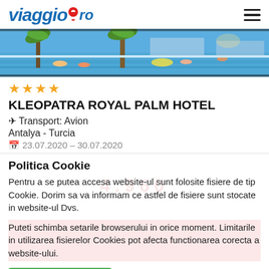viaggio.ro
[Figure (photo): Hotel pool area with people swimming, palm trees, and sunbathers under a bright sky.]
★★★★
KLEOPATRA ROYAL PALM HOTEL
✈ Transport: Avion
Antalya - Turcia
🗓 23.07.2020 - 30.07.2020
Politica Cookie
Pentru a se putea accesa website-ul sunt folosite fisiere de tip Cookie. Dorim sa va informam ce astfel de fisiere sunt stocate in website-ul Dvs.
Puteti schimba setarile browserului in orice moment. Limitarile in utilizarea fisierelor Cookies pot afecta functionarea corecta a website-ului.
Sunt de acord